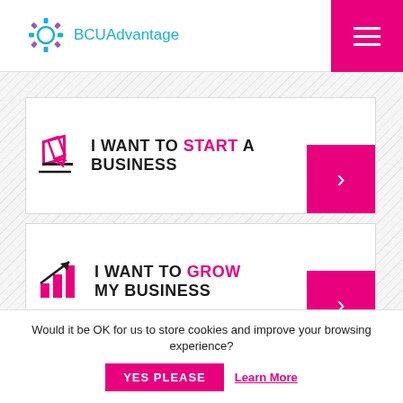[Figure (logo): BCUAdvantage logo with gear icon and cyan text]
I WANT TO START A BUSINESS
I WANT TO GROW MY BUSINESS
Would it be OK for us to store cookies and improve your browsing experience?
YES PLEASE
Learn More